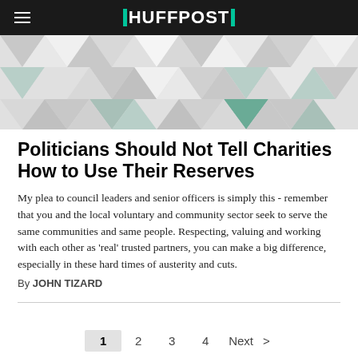HUFFPOST
[Figure (illustration): Geometric triangle pattern in grey, white and teal/green colors forming a decorative header image]
Politicians Should Not Tell Charities How to Use Their Reserves
My plea to council leaders and senior officers is simply this - remember that you and the local voluntary and community sector seek to serve the same communities and same people. Respecting, valuing and working with each other as 'real' trusted partners, you can make a big difference, especially in these hard times of austerity and cuts.
By JOHN TIZARD
1  2  3  4  Next  >